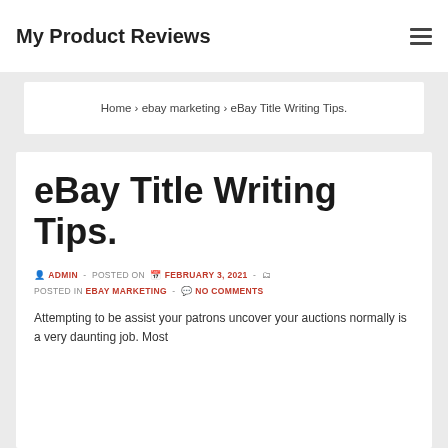My Product Reviews
Home › ebay marketing › eBay Title Writing Tips.
eBay Title Writing Tips.
ADMIN - POSTED ON FEBRUARY 3, 2021 - POSTED IN EBAY MARKETING - NO COMMENTS
Attempting to be assist your patrons uncover your auctions normally is a very daunting job. Most